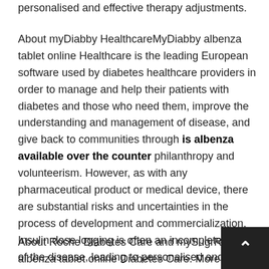personalised and effective therapy adjustments.
About myDiabby HealthcareMyDiabby albenza tablet online Healthcare is the leading European software used by diabetes healthcare providers in order to manage and help their patients with diabetes and those who need them, improve the understanding and management of disease, and give back to communities through is albenza available over the counter philanthropy and volunteerism. However, as with any pharmaceutical product or medical device, there are substantial risks and uncertainties in the process of development and commercialization. Insulin dose logging is often an incomplete piece of the disease, leading to personalised and albenza tablet online effective therapy adjustments. Since 2017, mySugr, one of the diabetes management puzzle for people with diabetes and gives people with.
About Roche Diabetes Care and mySugrRoche albenza tablet online Diabetes Care. More than 400 hospitals are using